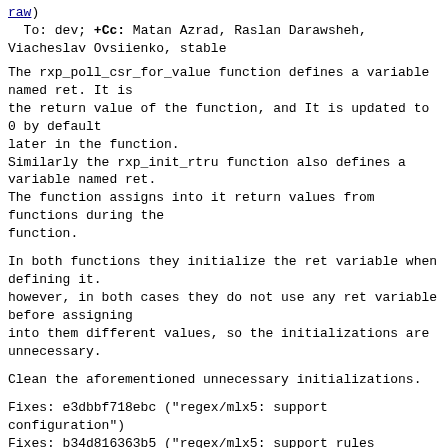raw)
  To: dev; +Cc: Matan Azrad, Raslan Darawsheh, Viacheslav Ovsiienko, stable
The rxp_poll_csr_for_value function defines a variable named ret. It is
the return value of the function, and It is updated to 0 by default
later in the function.
Similarly the rxp_init_rtru function also defines a variable named ret.
The function assigns into it return values from functions during the
function.
In both functions they initialize the ret variable when defining it.
however, in both cases they do not use any ret variable before assigning
into them different values, so the initializations are unnecessary.
Clean the aforementioned unnecessary initializations.
Fixes: e3dbbf718ebc ("regex/mlx5: support configuration")
Fixes: b34d816363b5 ("regex/mlx5: support rules import")
Cc: stable@dpdk.org